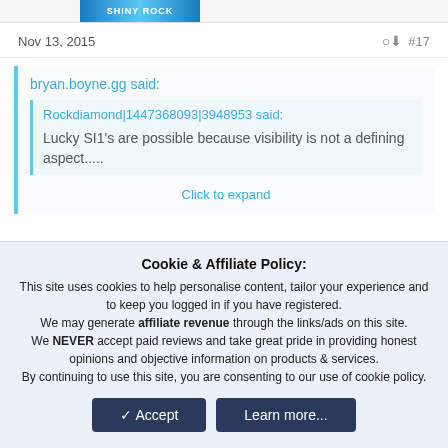[Figure (logo): Shiny Rock logo banner in blue gradient]
Nov 13, 2015    #17
bryan.boyne.gg said:
Rockdiamond|1447368093|3948953 said:
Lucky SI1's are possible because visibility is not a defining aspect.....
Click to expand
Cookie & Affiliate Policy:
This site uses cookies to help personalise content, tailor your experience and to keep you logged in if you have registered.
We may generate affiliate revenue through the links/ads on this site.
We NEVER accept paid reviews and take great pride in providing honest opinions and objective information on products & services.
By continuing to use this site, you are consenting to our use of cookie policy.
Accept    Learn more...